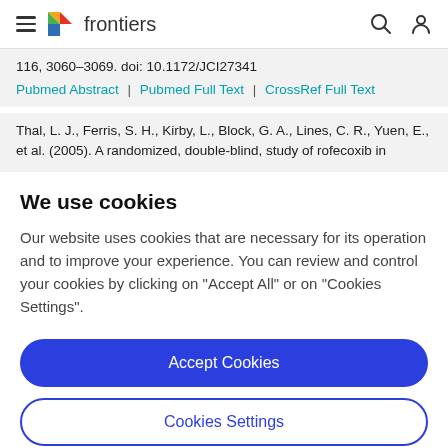frontiers
116, 3060–3069. doi: 10.1172/JCI27341
Pubmed Abstract | Pubmed Full Text | CrossRef Full Text
Thal, L. J., Ferris, S. H., Kirby, L., Block, G. A., Lines, C. R., Yuen, E., et al. (2005). A randomized, double-blind, study of rofecoxib in
We use cookies
Our website uses cookies that are necessary for its operation and to improve your experience. You can review and control your cookies by clicking on "Accept All" or on "Cookies Settings".
Accept Cookies
Cookies Settings